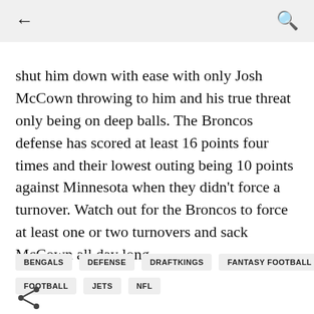← (back) | 🔍 (search)
shut him down with ease with only Josh McCown throwing to him and his true threat only being on deep balls. The Broncos defense has scored at least 16 points four times and their lowest outing being 10 points against Minnesota when they didn't force a turnover. Watch out for the Broncos to force at least one or two turnovers and sack McCown all day long.
BENGALS
DEFENSE
DRAFTKINGS
FANTASY FOOTBALL
FOOTBALL
JETS
NFL
[Figure (other): Share icon (less-than symbol style share button)]